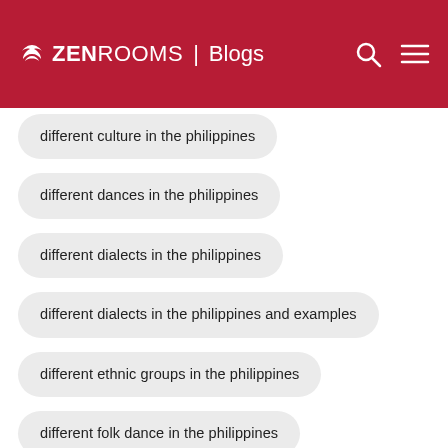ZEN ROOMS | Blogs
different culture in the philippines
different dances in the philippines
different dialects in the philippines
different dialects in the philippines and examples
different ethnic groups in the philippines
different folk dance in the philippines
different languages in the philippines
different outdoor recreational activities
different races in the philippines